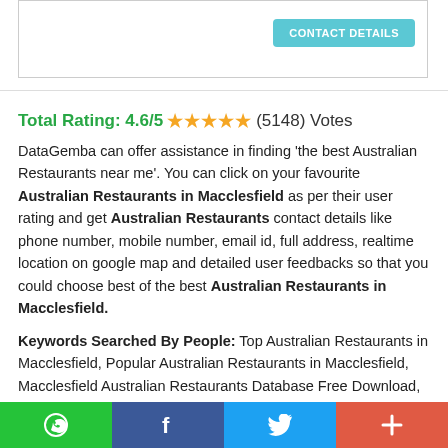[Figure (screenshot): Top box with border and CONTACT DETAILS button in teal]
Total Rating: 4.6/5 ★★★★★ (5148) Votes
DataGemba can offer assistance in finding 'the best Australian Restaurants near me'. You can click on your favourite Australian Restaurants in Macclesfield as per their user rating and get Australian Restaurants contact details like phone number, mobile number, email id, full address, realtime location on google map and detailed user feedbacks so that you could choose best of the best Australian Restaurants in Macclesfield.
Keywords Searched By People: Top Australian Restaurants in Macclesfield, Popular Australian Restaurants in Macclesfield, Macclesfield Australian Restaurants Database Free Download, Macclesfield
[Figure (infographic): Social share bar at bottom with WhatsApp (green), Facebook (blue), Twitter (light blue), and Plus/More (red-orange) buttons]